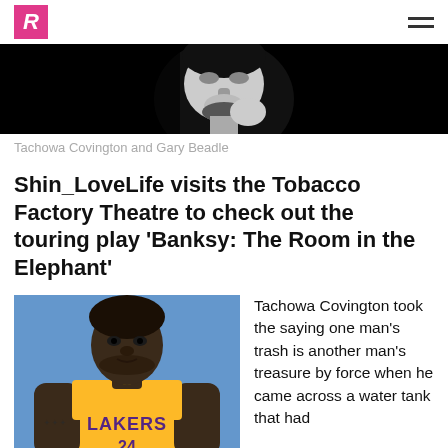R (logo) | hamburger menu
[Figure (photo): Black and white high-contrast photo of a person (Tachowa Covington and Gary Beadle) looking toward the camera]
Tachowa Covington and Gary Beadle
Shin_LoveLife visits the Tobacco Factory Theatre to check out the touring play 'Banksy: The Room in the Elephant'
[Figure (photo): Color photo of a Black man wearing a yellow Lakers basketball jersey number 34, with tattoos on his arm, standing in front of a blue background]
Tachowa Covington took the saying one man's trash is another man's treasure by force when he came across a water tank that had